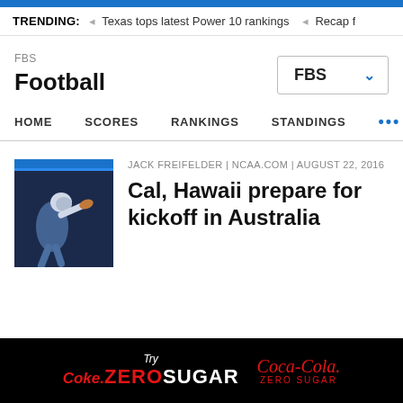TRENDING: ◂ Texas tops latest Power 10 rankings  ◂ Recap f
FBS
Football
FBS ∨
HOME  SCORES  RANKINGS  STANDINGS  •••
[Figure (illustration): NCAA football illustration: player throwing football on dark navy pennant/banner background with blue stripe at top]
JACK FREIFELDER | NCAA.COM | AUGUST 22, 2016
Cal, Hawaii prepare for kickoff in Australia
[Figure (other): Advertisement: Try Coke Zero Sugar / Coca-Cola Zero Sugar on black background]